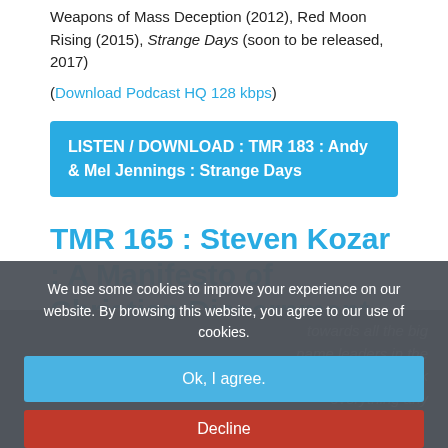Weapons of Mass Deception (2012), Red Moon Rising (2015), Strange Days (soon to be released, 2017)
(Download Podcast HQ 128 kbps)
LISTEN / DOWNLOAD : TMR 183 : Andy & Mel Jennings : Strange Days
TMR 165 : Steven Kozar : A Manifesto of Christian Discernment
Published: 26 February 2017
We use some cookies to improve your experience on our website. By browsing this website, you agree to our use of cookies.
Ok, I agree.
Decline